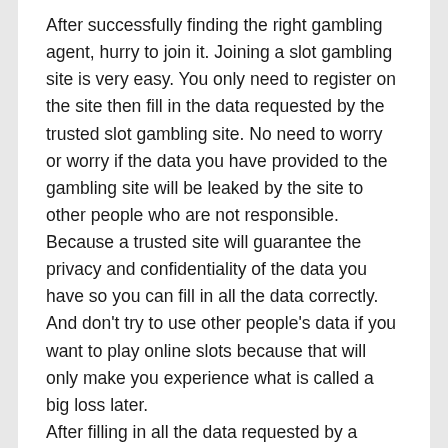After successfully finding the right gambling agent, hurry to join it. Joining a slot gambling site is very easy. You only need to register on the site then fill in the data requested by the trusted slot gambling site. No need to worry or worry if the data you have provided to the gambling site will be leaked by the site to other people who are not responsible. Because a trusted site will guarantee the privacy and confidentiality of the data you have so you can fill in all the data correctly. And don't try to use other people's data if you want to play online slots because that will only make you experience what is called a big loss later.
After filling in all the data requested by a trusted slot gambling site, please make a deposit. Because slot bets on slot gambling sites cannot be obtained if you have not made a deposit. Slot bets on trusted slot gambling sites are bets using real money so you should prepare some money to use when betting online. If you are bored with slot betting, you can try playing other bets because all the